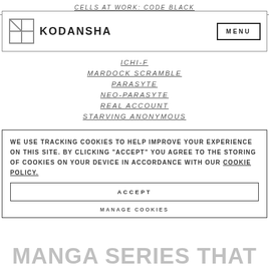CELLS AT WORK: CODE BLACK
[Figure (logo): Kodansha logo with grid icon and KODANSHA wordmark, MENU button on right]
ICHI-F
MARDOCK SCRAMBLE
PARASYTE
NEO-PARASYTE
REAL ACCOUNT
STARVING ANONYMOUS
WE USE TRACKING COOKIES TO HELP IMPROVE YOUR EXPERIENCE ON THIS SITE. BY CLICKING "ACCEPT" YOU AGREE TO THE STORING OF COOKIES ON YOUR DEVICE IN ACCORDANCE WITH OUR COOKIE POLICY.
ACCEPT
MANAGE COOKIES
MANGA SERIES THAT